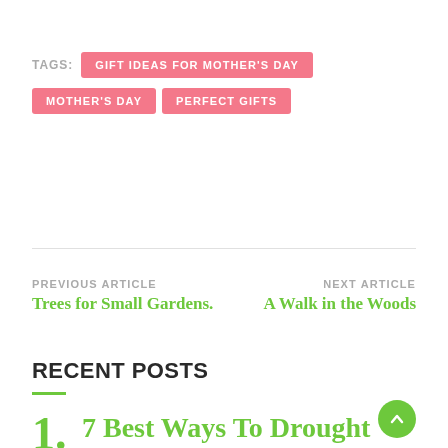TAGS: GIFT IDEAS FOR MOTHER'S DAY MOTHER'S DAY PERFECT GIFTS
PREVIOUS ARTICLE Trees for Small Gardens.
NEXT ARTICLE A Walk in the Woods
RECENT POSTS
1. 7 Best Ways To Drought Proof Your Garden